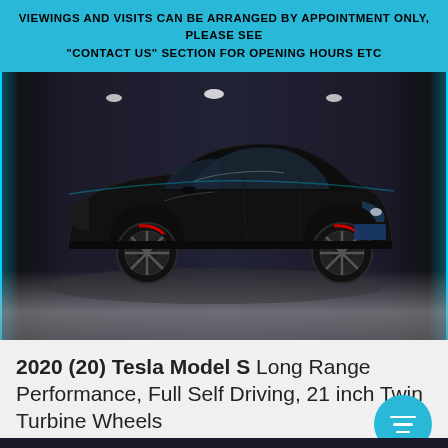VIEWINGS AND VISITS CAN BE ARRANGED BY APPOINTMENT ONLY, PLEASE SEE "CONTACT US" SECTION FOR OPENING HOURS ETC
[Figure (photo): Black Tesla Model S photographed in a dark showroom with neon edge lighting on walls, glossy concrete floor, three-quarter front view]
2020 (20) Tesla Model S Long Range Performance, Full Self Driving, 21 inch Twin Turbine Wheels
£83,995